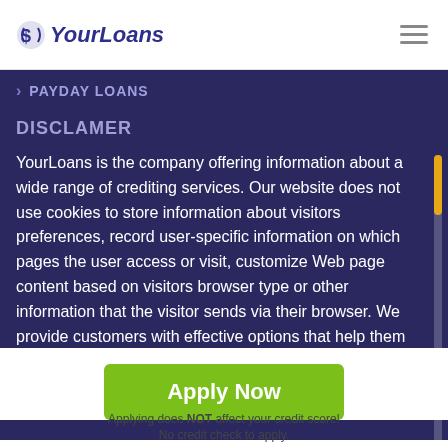YourLoans
> PAYDAY LOANS
DISCLAMER
YourLoans is the company offering information about a wide range of crediting services. Our website does not use cookies to store information about visitors preferences, record user-specific information on which pages the user access or visit, customize Web page content based on visitors browser type or other information that the visitor sends via their browser. We provide customers with effective options that help them
Apply Now
Applying does NOT affect your credit score! No credit check to apply.